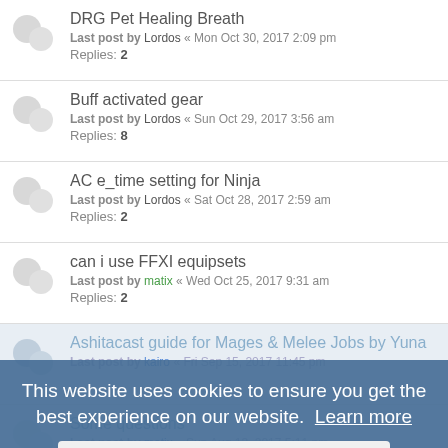DRG Pet Healing Breath
Last post by Lordos « Mon Oct 30, 2017 2:09 pm
Replies: 2
Buff activated gear
Last post by Lordos « Sun Oct 29, 2017 3:56 am
Replies: 8
AC e_time setting for Ninja
Last post by Lordos « Sat Oct 28, 2017 2:59 am
Replies: 2
can i use FFXI equipsets
Last post by matix « Wed Oct 25, 2017 9:31 am
Replies: 2
Ashitacast guide for Mages & Melee Jobs by Yuna
Last post by kairo « Fri Sep 15, 2017 11:45 pm
Some questions
Last post by matix « Sun Aug 13, 2017 5:11 pm
Replies: 1
Locking DT gear.
Last post by JustMee « Sun Jul 16, 2017 4:00 am
Replies: 1
This website uses cookies to ensure you get the best experience on our website. Learn more
Got it!